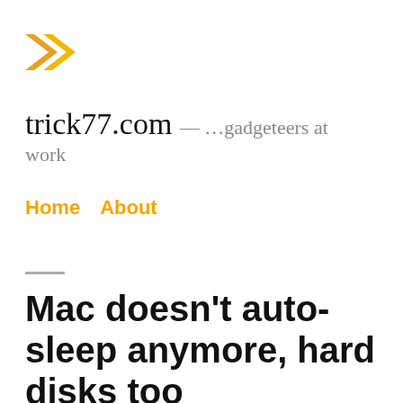[Figure (logo): trick77 logo: two orange/yellow double-chevron arrows pointing right]
trick77.com — …gadgeteers at work
Home  About
Mac doesn't auto-sleep anymore, hard disks too